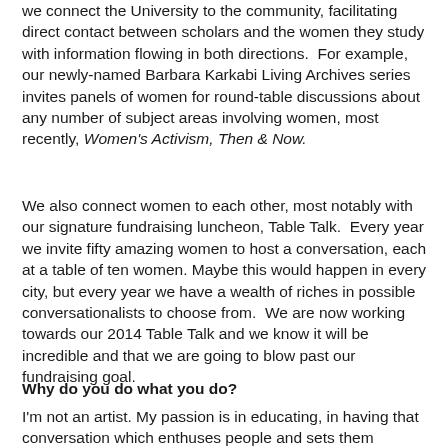we connect the University to the community, facilitating direct contact between scholars and the women they study with information flowing in both directions.  For example, our newly-named Barbara Karkabi Living Archives series invites panels of women for round-table discussions about any number of subject areas involving women, most recently, Women's Activism, Then & Now.
We also connect women to each other, most notably with our signature fundraising luncheon, Table Talk.  Every year we invite fifty amazing women to host a conversation, each at a table of ten women. Maybe this would happen in every city, but every year we have a wealth of riches in possible conversationalists to choose from.  We are now working towards our 2014 Table Talk and we know it will be incredible and that we are going to blow past our fundraising goal.
Why do you do what you do?
I'm not an artist. My passion is in educating, in having that conversation which enthuses people and sets them